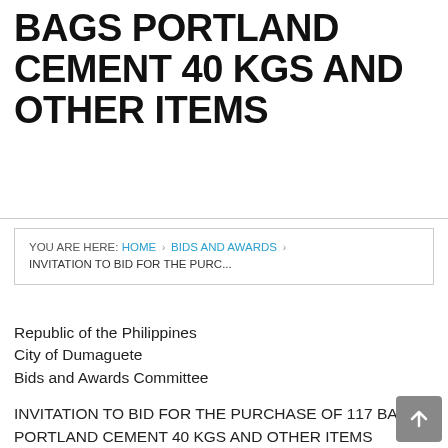BAGS PORTLAND CEMENT 40 KGS AND OTHER ITEMS
YOU ARE HERE: HOME › BIDS AND AWARDS › INVITATION TO BID FOR THE PURC...
Republic of the Philippines
City of Dumaguete
Bids and Awards Committee
INVITATION TO BID FOR THE PURCHASE OF 117 BAGS PORTLAND CEMENT 40 KGS AND OTHER ITEMS
The City of Dumaguete thru its BIDS AND AWARDS COMMITTEE (BAC), invites all interested manufacturers, suppliers, dealers and/or distributors to apply for eligibility